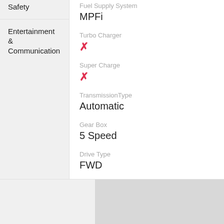Safety
Entertainment & Communication
Fuel Supply System
MPFi
Turbo Charger
✗
Super Charge
✗
TransmissionType
Automatic
Gear Box
5 Speed
Drive Type
FWD